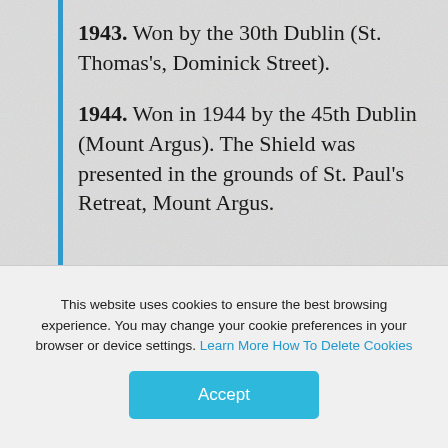1943. Won by the 30th Dublin (St. Thomas's, Dominick Street).
1944. Won in 1944 by the 45th Dublin (Mount Argus). The Shield was presented in the grounds of St. Paul's Retreat, Mount Argus.
This website uses cookies to ensure the best browsing experience. You may change your cookie preferences in your browser or device settings. Learn More How To Delete Cookies